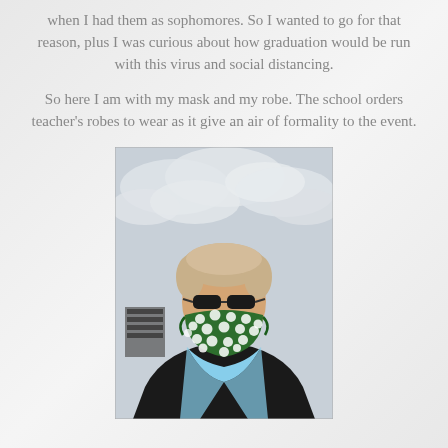when I had them as sophomores. So I wanted to go for that reason, plus I was curious about how graduation would be run with this virus and social distancing.
So here I am with my mask and my robe. The school orders teacher's robes to wear as it give an air of formality to the event.
[Figure (photo): A person wearing sunglasses and a green polka-dot face mask, dressed in a black graduation robe with light blue hood/stole, standing outdoors with a cloudy sky in the background.]